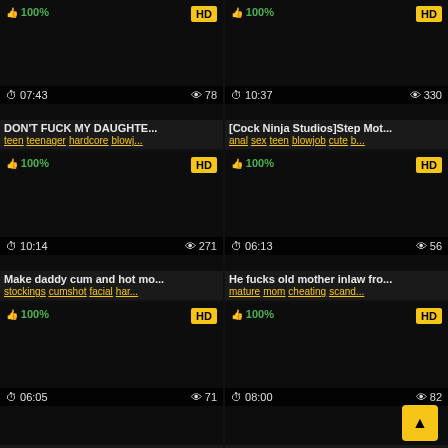[Figure (screenshot): Video thumbnail grid - 6 video cards in 2-column layout showing adult video thumbnails with metadata]
100% HD 07:43 78 DON'T FUCK MY DAUGHTE... teen teenager hardcore blowj...
100% HD 10:37 330 [Cock Ninja Studios]Step Mot... anal sex teen blowjob cute b...
100% HD 10:14 271 Make daddy cum and hot mo... stockings cumshot facial har...
100% HD 06:13 56 He fucks old mother inlaw fro... mature mom cheating scand...
100% HD 06:05 71
100% HD 08:00 82